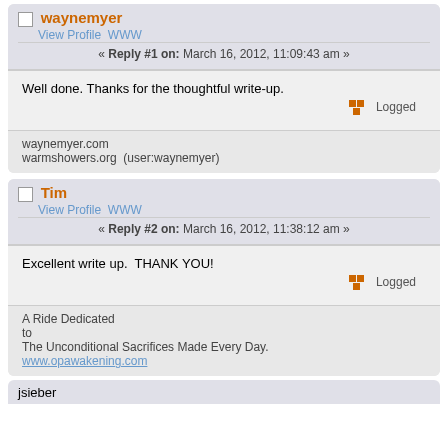waynemyer
View Profile WWW
« Reply #1 on: March 16, 2012, 11:09:43 am »
Well done. Thanks for the thoughtful write-up.
Logged
waynemyer.com
warmshowers.org  (user:waynemyer)
Tim
View Profile WWW
« Reply #2 on: March 16, 2012, 11:38:12 am »
Excellent write up.  THANK YOU!
Logged
A Ride Dedicated
to
The Unconditional Sacrifices Made Every Day.
www.opawakening.com
jsieber